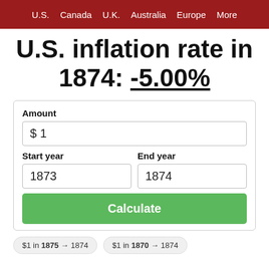U.S.  Canada  U.K.  Australia  Europe  More
U.S. inflation rate in 1874: -5.00%
Amount
$ 1
Start year
1873
End year
1874
Calculate
$1 in 1875 → 1874
$1 in 1870 → 1874